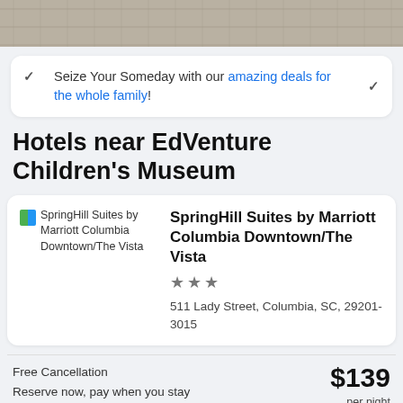[Figure (photo): Top portion of a hotel room photo showing floor/carpet area, partially cropped]
Seize Your Someday with our amazing deals for the whole family!
Hotels near EdVenture Children's Museum
[Figure (photo): SpringHill Suites by Marriott Columbia Downtown/The Vista hotel image placeholder with icon]
SpringHill Suites by Marriott Columbia Downtown/The Vista
★★★
511 Lady Street, Columbia, SC, 29201-3015
Free Cancellation
Reserve now, pay when you stay
$139 per night
Sep 4 - Sep 5
0.24 mi from EdVenture Children's Museum